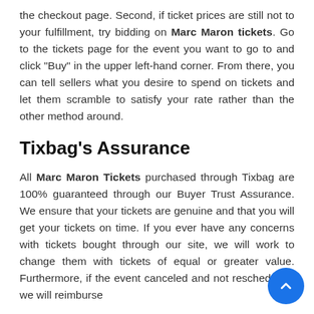the checkout page. Second, if ticket prices are still not to your fulfillment, try bidding on Marc Maron tickets. Go to the tickets page for the event you want to go to and click "Buy" in the upper left-hand corner. From there, you can tell sellers what you desire to spend on tickets and let them scramble to satisfy your rate rather than the other method around.
Tixbag's Assurance
All Marc Maron Tickets purchased through Tixbag are 100% guaranteed through our Buyer Trust Assurance. We ensure that your tickets are genuine and that you will get your tickets on time. If you ever have any concerns with tickets bought through our site, we will work to change them with tickets of equal or greater value. Furthermore, if the event canceled and not rescheduled, we will reimburse